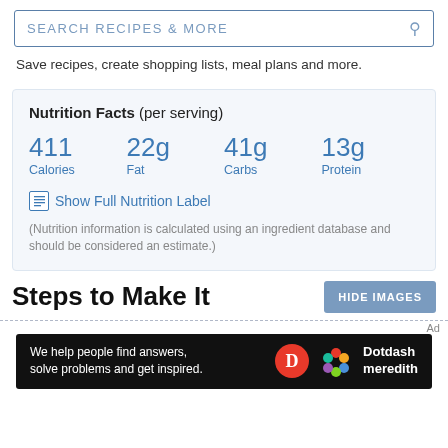SEARCH RECIPES & MORE
Save recipes, create shopping lists, meal plans and more.
| Calories | Fat | Carbs | Protein |
| --- | --- | --- | --- |
| 411 | 22g | 41g | 13g |
Show Full Nutrition Label
(Nutrition information is calculated using an ingredient database and should be considered an estimate.)
Steps to Make It
HIDE IMAGES
Ad
We help people find answers, solve problems and get inspired.
Dotdash meredith